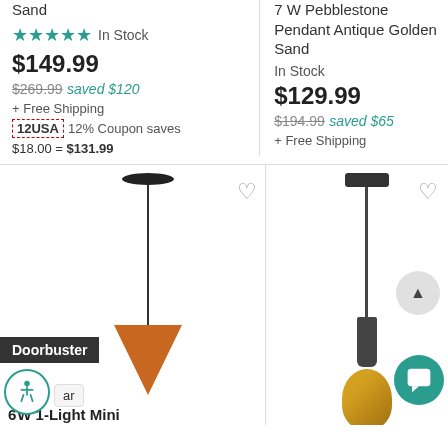Sand
★★★★★ In Stock
$149.99
$269.99 saved $120
+ Free Shipping
12USA 12% Coupon saves $18.00 = $131.99
7 W Pebblestone Pendant Antique Golden Sand
In Stock
$129.99
$194.99 saved $65
+ Free Shipping
[Figure (photo): Orange cone-shaped pendant light with black cord and ceiling plate, with Doorbuster badge]
Doorbuster
ar
6 W 1-Light Mini
[Figure (photo): Pendant light with dark bronze finish and amber/gold shade, with navigation buttons]